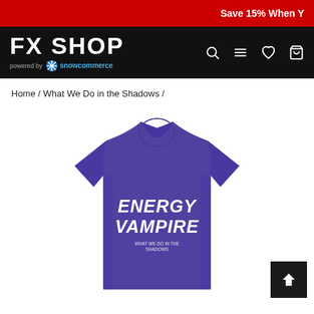Save 15% When Y
[Figure (logo): FX Shop logo with 'powered by snowcommerce' tagline on black background, with navigation icons (search, menu, heart, cart)]
Home / What We Do in the Shadows /
[Figure (photo): Purple t-shirt with 'ENERGY VAMPIRE' text printed on the chest in white bold italic font, with small 'What We Do in the Shadows' show branding below. Product from FX Shop.]